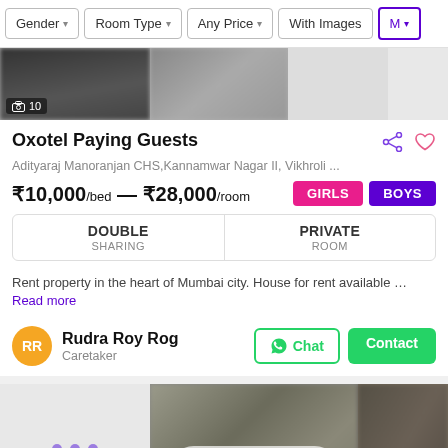Gender  Room Type  Any Price  With Images  Mo
[Figure (screenshot): Image strip showing property photos with count badge '10']
Oxotel Paying Guests
Adityaraj Manoranjan CHS,Kannamwar Nagar II, Vikhroli ...
₹10,000/bed — ₹28,000/room
GIRLS  BOYS
| DOUBLE
SHARING | PRIVATE
ROOM |
Rent property in the heart of Mumbai city. House for rent available ... Read more
Rudra Roy Rog
Caretaker
[Figure (screenshot): Bottom property image strip with Sort, Saved, Filter overlay buttons]